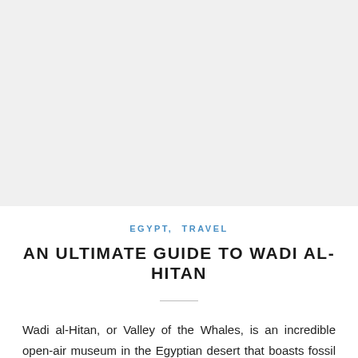[Figure (photo): Large photograph placeholder occupying the top portion of the page, likely showing Wadi al-Hitan landscape]
EGYPT,  TRAVEL
AN ULTIMATE GUIDE TO WADI AL-HITAN
Wadi al-Hitan, or Valley of the Whales, is an incredible open-air museum in the Egyptian desert that boasts fossil remains of one of the earliest forms of whale.